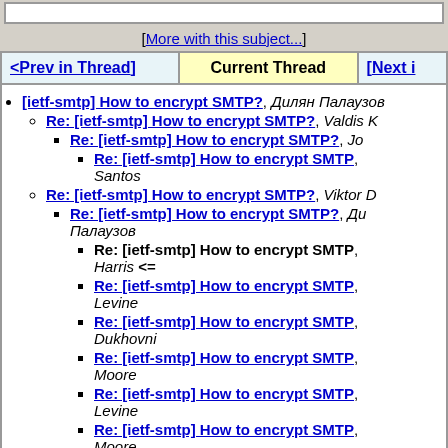[More with this subject...]
| <Prev in Thread] | Current Thread | [Next i |
| --- | --- | --- |
[ietf-smtp] How to encrypt SMTP?, Дилян Палаузов
Re: [ietf-smtp] How to encrypt SMTP?, Valdis K
Re: [ietf-smtp] How to encrypt SMTP?, Jo
Re: [ietf-smtp] How to encrypt SMTP?, Santos
Re: [ietf-smtp] How to encrypt SMTP?, Viktor D
Re: [ietf-smtp] How to encrypt SMTP?, Дилян Палаузов
Re: [ietf-smtp] How to encrypt SMTP?, Harris <=
Re: [ietf-smtp] How to encrypt SMTP?, Levine
Re: [ietf-smtp] How to encrypt SMTP?, Dukhovni
Re: [ietf-smtp] How to encrypt SMTP?, Moore
Re: [ietf-smtp] How to encrypt SMTP?, Levine
Re: [ietf-smtp] How to encrypt SMTP?, Moore